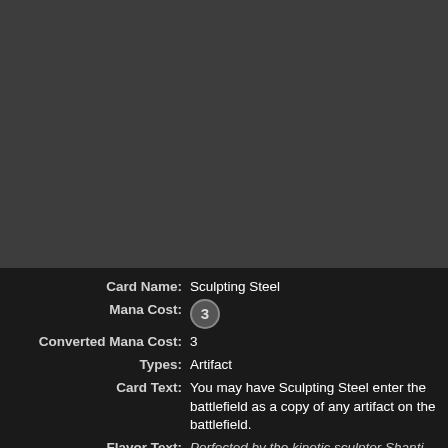[Figure (illustration): Dark gray card artwork area for the Magic: The Gathering card Sculpting Steel]
| Card Name: | Sculpting Steel |
| Mana Cost: | 3 (generic) |
| Converted Mana Cost: | 3 |
| Types: | Artifact |
| Card Text: | You may have Sculpting Steel enter the battlefield as a copy of any artifact on the battlefield. |
| Flavor Text: | Perfected by the kinetic sculptor Shanti |